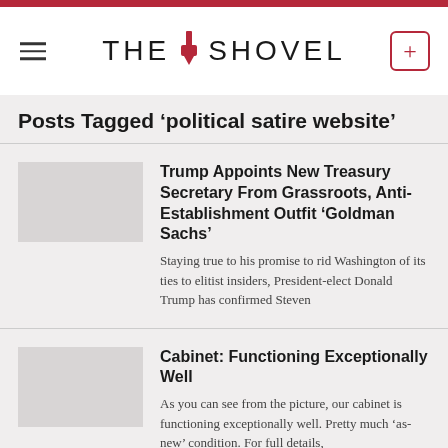THE SHOVEL
Posts Tagged 'political satire website'
Trump Appoints New Treasury Secretary From Grassroots, Anti-Establishment Outfit 'Goldman Sachs'
Staying true to his promise to rid Washington of its ties to elitist insiders, President-elect Donald Trump has confirmed Steven
Cabinet: Functioning Exceptionally Well
As you can see from the picture, our cabinet is functioning exceptionally well. Pretty much 'as-new' condition. For full details,
Nation Braces Itself As Politicians Announce Plan To Use Their Conscience
Labor politicians will use their conscience as early as next week, it has been revealed